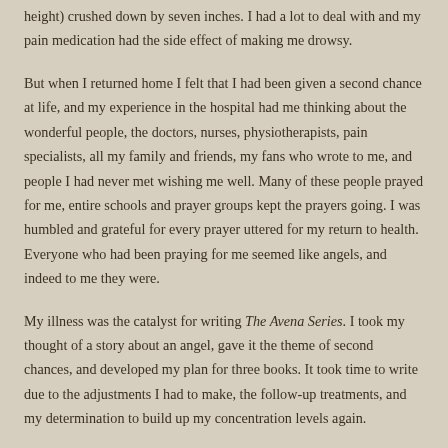height) crushed down by seven inches. I had a lot to deal with and my pain medication had the side effect of making me drowsy.
But when I returned home I felt that I had been given a second chance at life, and my experience in the hospital had me thinking about the wonderful people, the doctors, nurses, physiotherapists, pain specialists, all my family and friends, my fans who wrote to me, and people I had never met wishing me well. Many of these people prayed for me, entire schools and prayer groups kept the prayers going. I was humbled and grateful for every prayer uttered for my return to health. Everyone who had been praying for me seemed like angels, and indeed to me they were.
My illness was the catalyst for writing The Avena Series. I took my thought of a story about an angel, gave it the theme of second chances, and developed my plan for three books. It took time to write due to the adjustments I had to make, the follow-up treatments, and my determination to build up my concentration levels again.
I am proud of my new series, and grateful to Bloomsbury Publishing